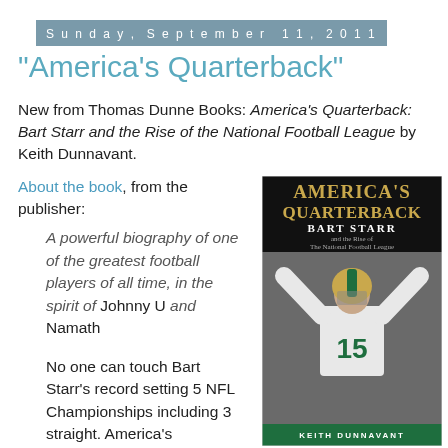Sunday, September 11, 2011
"America's Quarterback"
New from Thomas Dunne Books: America's Quarterback: Bart Starr and the Rise of the National Football League by Keith Dunnavant.
About the book, from the publisher:
A powerful biography of one of the greatest football players of all time, in the spirit of Johnny U and Namath
No one can touch Bart Starr's record setting 5 NFL Championships including 3 straight. America's Quarterback
[Figure (illustration): Book cover of America's Quarterback: Bart Starr and the Rise of the National Football League by Keith Dunnavant. Black and white photo of Bart Starr wearing Green Bay Packers uniform number 15, arms raised. Gold and green title text on dark background.]